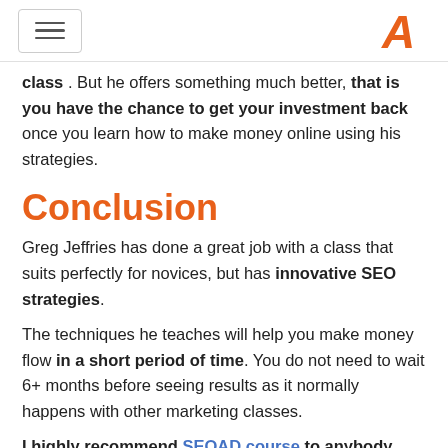[hamburger menu] [logo A]
class. But he offers something much better, that is you have the chance to get your investment back once you learn how to make money online using his strategies.
Conclusion
Greg Jeffries has done a great job with a class that suits perfectly for novices, but has innovative SEO strategies.
The techniques he teaches will help you make money flow in a short period of time. You do not need to wait 6+ months before seeing results as it normally happens with other marketing classes.
I highly recommend SEOAD course to anybody who